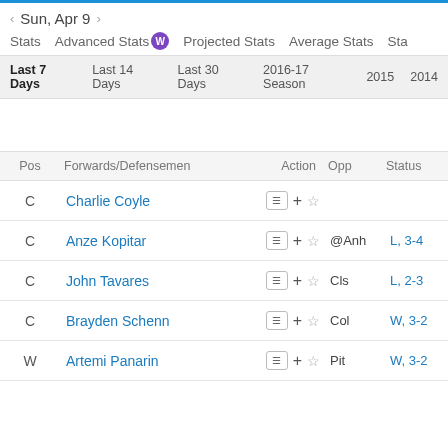Sun, Apr 9
Stats   Advanced Stats   Projected Stats   Average Stats   Sta
Last 7 Days   Last 14 Days   Last 30 Days   2016-17 Season   2015   2014
| Pos | Forwards/Defensemen | Action | Opp | Status |
| --- | --- | --- | --- | --- |
| C | Charlie Coyle |  |  |  |
| C | Anze Kopitar |  | @Anh | L, 3-4 |
| C | John Tavares |  | Cls | L, 2-3 |
| C | Brayden Schenn |  | Col | W, 3-2 |
| W | Artemi Panarin |  | Pit | W, 3-2 |